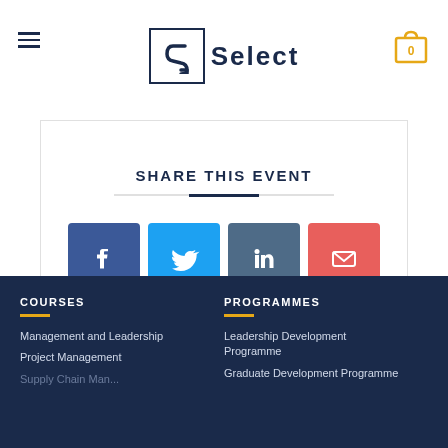[Figure (logo): SJ Select logo with hamburger menu and cart icon]
SHARE THIS EVENT
[Figure (infographic): Share buttons for Facebook, Twitter, LinkedIn, and Email]
COURSES
Management and Leadership
Project Management
PROGRAMMES
Leadership Development Programme
Graduate Development Programme